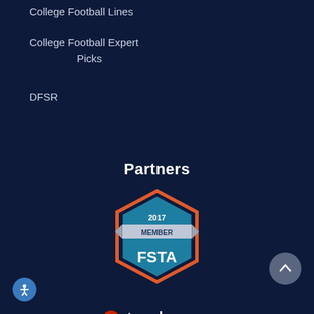College Football Lines
College Football Expert Picks
DFSR
Partners
[Figure (logo): 2017 MEMBER FSTA badge/logo with hexagonal shape in orange/red border with teal interior]
[Figure (logo): Sportradar logo with tagline 'driven by facts']
[Figure (logo): FantasyData logo with text 'Scores & Stats by fantasydata API SOLUTIONS']